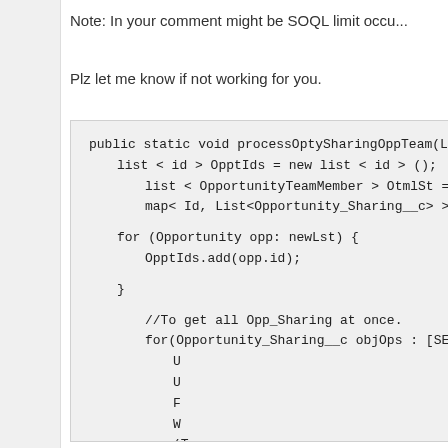Note: In your comment might be SOQL limit occu...
Plz let me know if not working for you.
[Figure (screenshot): Code block showing Apex code for processOptySharingOppTeam method with list, map declarations, for loop, and SOQL query for Opportunity_Sharing__c]